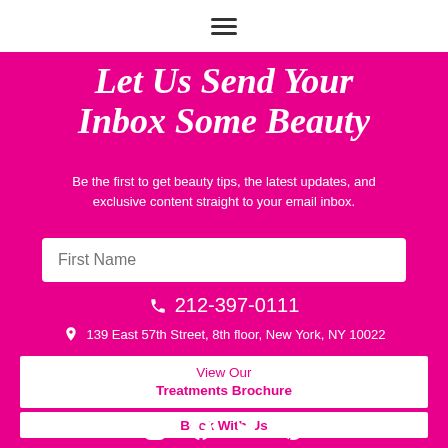☰ (hamburger menu icon)
Let Us Send Your Inbox Some Beauty
Be the first to get beauty tips, the latest updates, and exclusive content straight to your email inbox.
First Name (input field)
📞 212-397-0111
📍 139 East 57th Street, 8th floor, New York, NY 10022
View Our Treatments Brochure
Book With Us
[Figure (infographic): Social media icons: Instagram, Facebook, Twitter, Pinterest]